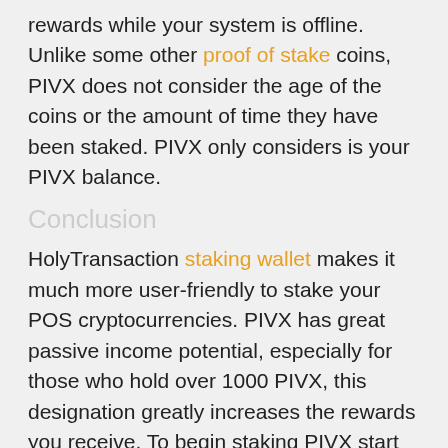rewards while your system is offline. Unlike some other proof of stake coins, PIVX does not consider the age of the coins or the amount of time they have been staked. PIVX only considers is your PIVX balance.
Conclusion
HolyTransaction staking wallet makes it much more user-friendly to stake your POS cryptocurrencies. PIVX has great passive income potential, especially for those who hold over 1000 PIVX, this designation greatly increases the rewards you receive. To begin staking PIVX start by depositing your coins in your HolyTransaction Wallet.
Open your free digital wallet here to store your cryptocurrencies in a safe place.